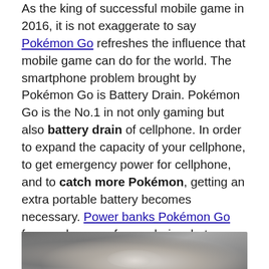As the king of successful mobile game in 2016, it is not exaggerate to say Pokémon Go refreshes the influence that mobile game can do for the world. The smartphone problem brought by Pokémon Go is Battery Drain. Pokémon Go is the No.1 in not only gaming but also battery drain of cellphone. In order to expand the capacity of your cellphone, to get emergency power for cellphone, and to catch more Pokémon, getting an extra portable battery becomes necessary. Power banks Pokémon Go for can be one of your choice, but battery cases should be the most convenience way. Now, it is time for Pokémon Go fans to find a battery case for your iPhone 6/6s.
[Figure (photo): Partial photo at bottom of page, appears to show a device or object, cropped]